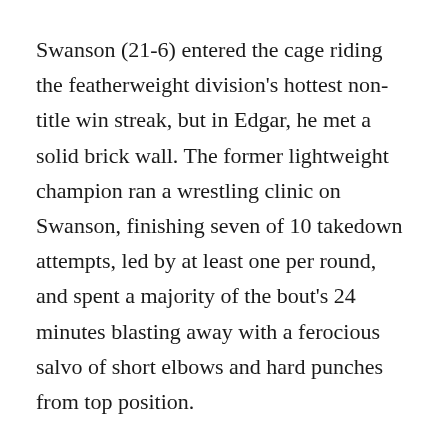Swanson (21-6) entered the cage riding the featherweight division's hottest non-title win streak, but in Edgar, he met a solid brick wall. The former lightweight champion ran a wrestling clinic on Swanson, finishing seven of 10 takedown attempts, led by at least one per round, and spent a majority of the bout's 24 minutes blasting away with a ferocious salvo of short elbows and hard punches from top position.
Edgar mixed his attack up better than he ever has before, rotating between flurries to the head and body, while applying constant pressure and seamlessly transitioning back and forth from half guard to full mount. Edgar outlanded Swanson by over 200 strikes, and the finish came in a gorgeous sequence, as a wearied and bloodied Swanson attempted to twist off the cage only to be instantly trapped in the clutches of Edgar's neck crack, which Edgar finished in